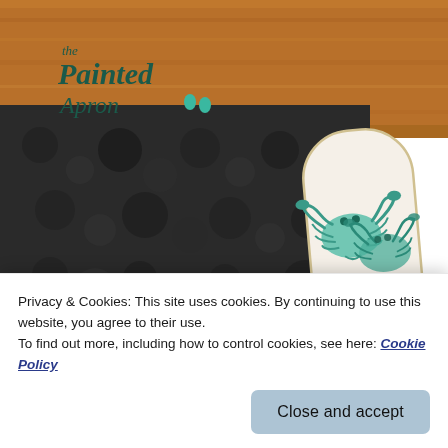[Figure (photo): Hero image showing 'The Painted Apron' logo on a wooden board background with teal crab illustrations on a white serving board, dark slate/stone area visible]
We took the concept of a Charcute and expanded it to several boa with easy to prepare, simple, kid frie
Privacy & Cookies: This site uses cookies. By continuing to use this website, you agree to their use.
To find out more, including how to control cookies, see here: Cookie Policy
Close and accept